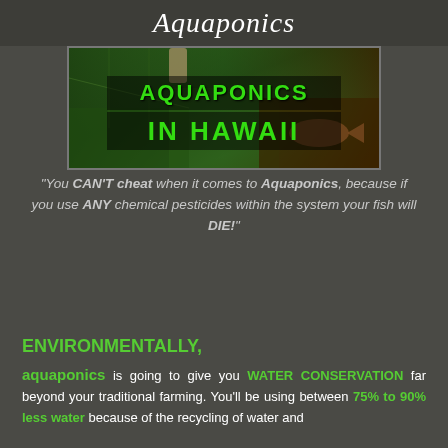Aquaponics
[Figure (photo): A banner photo of aquaponics systems with green plants, fish, and greenhouse structures. Text overlay reads 'AQUAPONICS IN HAWAII' in large green block letters.]
"You CAN'T cheat when it comes to Aquaponics, because if you use ANY chemical pesticides within the system your fish will DIE!"
ENVIRONMENTALLY, aquaponics is going to give you WATER CONSERVATION far beyond your traditional farming. You'll be using between 75% to 90% less water because of the recycling of water and